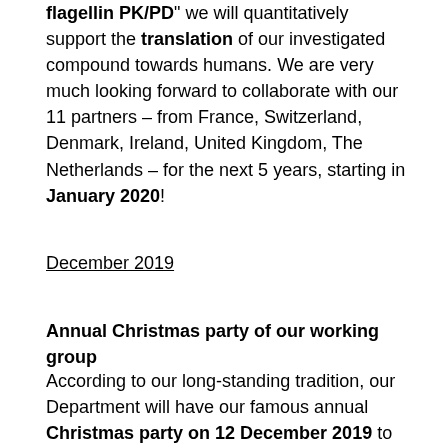flagellin PK/PD" we will quantitatively support the translation of our investigated compound towards humans. We are very much looking forward to collaborate with our 11 partners – from France, Switzerland, Denmark, Ireland, United Kingdom, The Netherlands – for the next 5 years, starting in January 2020!
December 2019
Annual Christmas party of our working group
According to our long-standing tradition, our Department will have our famous annual Christmas party on 12 December 2019 to look back at a wonderful and successful year and to enjoy a Christmas dinner and